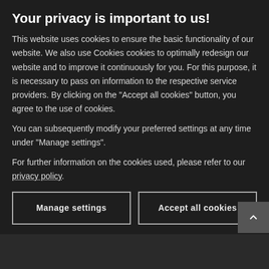Your privacy is important to us!
This website uses cookies to ensure the basic functionality of our website. We also use Cookies cookies to optimally redesign our website and to improve it continuously for you. For this purpose, it is necessary to pass on information to the respective service providers. By clicking on the "Accept all cookies" button, you agree to the use of cookies.
You can subsequently modify your preferred settings at any time under "Manage settings".
For further information on the cookies used, please refer to our privacy policy.
Manage settings | Accept all cookies